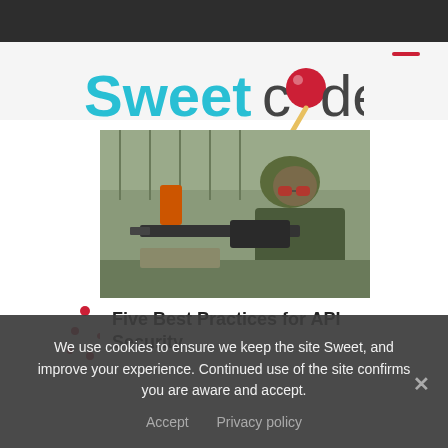[Figure (logo): Sweetcode logo with cyan 'Sweet' text and dark 'code' text, with a red lollipop replacing the 'o' in code, and a lollipop stick below]
[Figure (photo): Military soldier in camouflage uniform with glasses, operating a heavy machine gun, outdoor/field setting with fence in background]
Five Best Practices for API Security
We use cookies to ensure we keep the site Sweet, and improve your experience. Continued use of the site confirms you are aware and accept.
Accept   Privacy policy